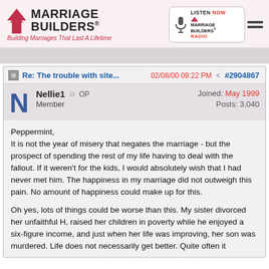Marriage Builders - Building Marriages That Last A Lifetime
Re: The trouble with site... 02/08/00 09:22 PM #2904867
Nellie1 OP Member | Joined: May 1999 | Posts: 3,040
Peppermint,
It is not the year of misery that negates the marriage - but the prospect of spending the rest of my life having to deal with the fallout. If it weren't for the kids, I would absolutely wish that I had never met him. The happiness in my marriage did not outweigh this pain. No amount of happiness could make up for this.

Oh yes, lots of things could be worse than this. My sister divorced her unfaithful H, raised her children in poverty while he enjoyed a six-figure income, and just when her life was improving, her son was murdered. Life does not necessarily get better. Quite often it